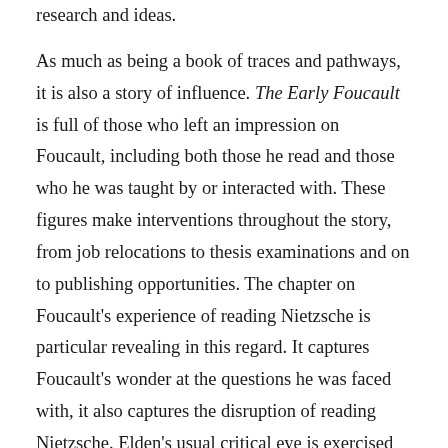research and ideas.
As much as being a book of traces and pathways, it is also a story of influence. The Early Foucault is full of those who left an impression on Foucault, including both those he read and those who he was taught by or interacted with. These figures make interventions throughout the story, from job relocations to thesis examinations and on to publishing opportunities. The chapter on Foucault's experience of reading Nietzsche is particular revealing in this regard. It captures Foucault's wonder at the questions he was faced with, it also captures the disruption of reading Nietzsche. Elden's usual critical eye is exercised here too, reading across the archival sources to question received ideas of when and how Foucault might have encountered Nietzsche, as well as which texts and what versions. Yet the question of what Foucault's reading
the question of what Foucault's reading